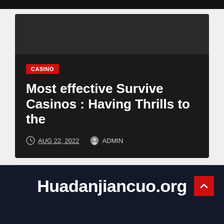[Figure (photo): Dark/black top bar area at very top of page]
[Figure (photo): Dark card with casino article preview on light gray background]
CASINO
Most effective Survive Casinos : Having Thrills to the
AUG 22, 2022   ADMIN
Huadanjiancuo.org